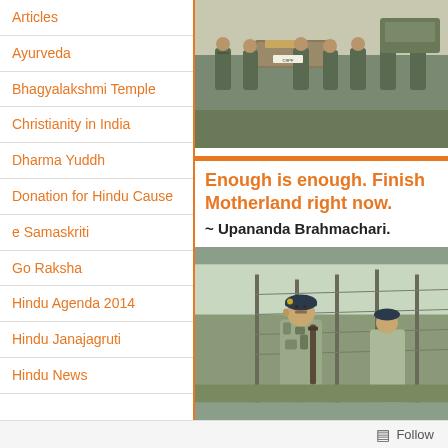Articles
Ayurveda
Bhagyalakshmi Temple
Christianity in India
Dharma Yuddh
Donation for Hindu Cause
e Samaskriti
Go Raksha
Hindu Agenda 2014
Hindu Janajagruti
Hindu News
[Figure (photo): Soldiers in camouflage carrying a coffin/casket, military funeral scene outdoors]
Enough is enough. Finish Motherland right now.
~ Upananda Brahmachari.
[Figure (photo): A soldier in beret standing near barbed wire fence border area]
Follow